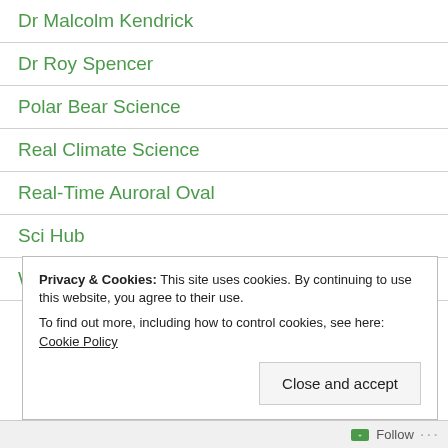Dr Malcolm Kendrick
Dr Roy Spencer
Polar Bear Science
Real Climate Science
Real-Time Auroral Oval
Sci Hub
Wattsupwiththat
Privacy & Cookies: This site uses cookies. By continuing to use this website, you agree to their use. To find out more, including how to control cookies, see here: Cookie Policy
Close and accept